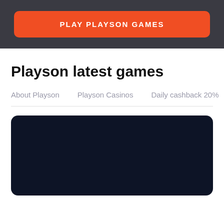[Figure (screenshot): Orange button with white bold uppercase text 'PLAY PLAYSON GAMES' on dark grey background]
Playson latest games
About Playson
Playson Casinos
Daily cashback 20%
[Figure (screenshot): Dark navy blue card/panel with rounded corners, appears to be a game preview placeholder]